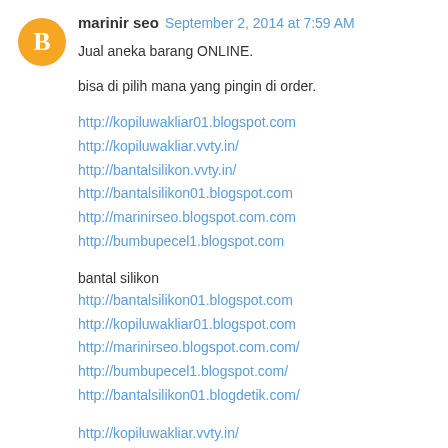[Figure (other): Orange circle avatar with white Blogger 'B' logo icon]
marinir seo  September 2, 2014 at 7:59 AM
Jual aneka barang ONLINE.

bisa di pilih mana yang pingin di order.

http://kopiluwakliar01.blogspot.com
http://kopiluwakliar.vvty.in/
http://bantalsilikon.vvty.in/
http://bantalsilikon01.blogspot.com
http://marinirseo.blogspot.com.com
http://bumbupecel1.blogspot.com

bantal silikon
http://bantalsilikon01.blogspot.com
http://kopiluwakliar01.blogspot.com
http://marinirseo.blogspot.com.com/
http://bumbupecel1.blogspot.com/
http://bantalsilikon01.blogdetik.com/

http://kopiluwakliar.vvty.in/